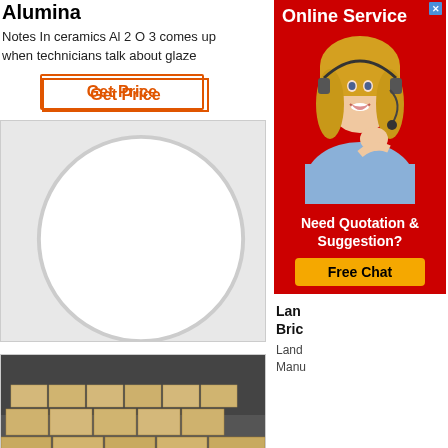Alumina
Notes In ceramics Al 2 O 3 comes up when technicians talk about glaze
Get Price
[Figure (photo): Photo of alumina powder in a glass flask/vessel with Rongsheng logo in top-left corner]
Lan Bric
Land Manu
[Figure (infographic): Online Service ad banner with red background, white text 'Online Service', woman with headset, 'Need Quotation & Suggestion? Free Chat' button]
[Figure (photo): Photo of ceramic bricks/blocks stacked in a warehouse]
Ceramic Tubes Manufacturers
STCERA 99 Alumina Ceramic Guide Tube High Temperature